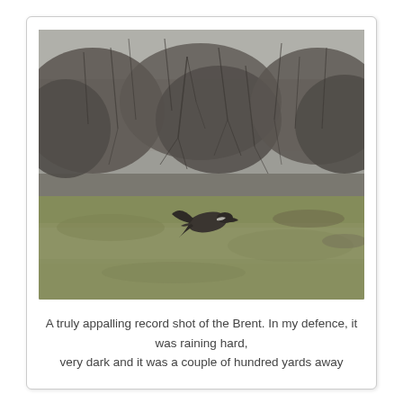[Figure (photo): A blurry, low-quality photograph of a bird (Brent goose) in flight over a green grassy field, with bare winter trees in the background. The photo is dark and overcast.]
A truly appalling record shot of the Brent. In my defence, it was raining hard, very dark and it was a couple of hundred yards away